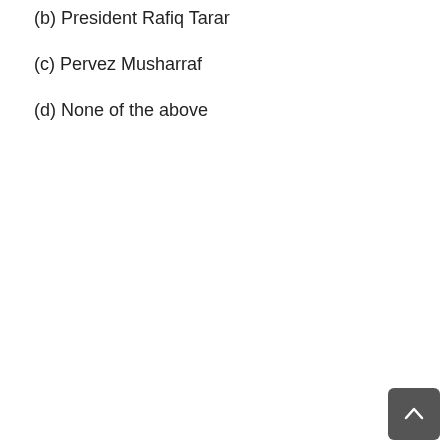(b) President Rafiq Tarar
(c) Pervez Musharraf
(d) None of the above